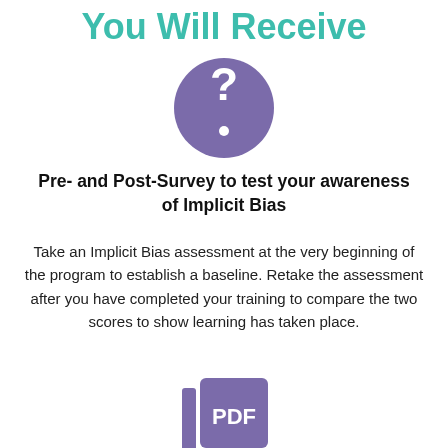You Will Receive
[Figure (illustration): Purple circle with a white question mark icon in the center]
Pre- and Post-Survey to test your awareness of Implicit Bias
Take an Implicit Bias assessment at the very beginning of the program to establish a baseline. Retake the assessment after you have completed your training to compare the two scores to show learning has taken place.
[Figure (illustration): Partial PDF file icon with purple background and white PDF text, partially cut off at bottom of page]